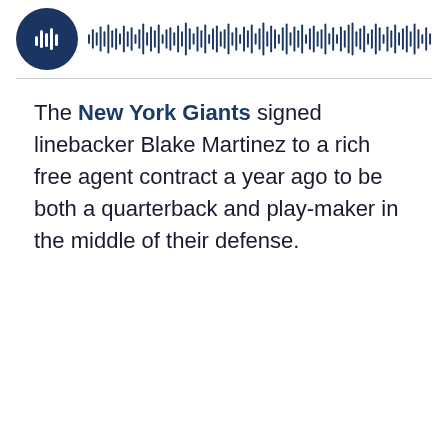[Figure (other): Podcast player UI with a dark blue circular icon with microphone/audio bars and a waveform/progress bar to the right]
The New York Giants signed linebacker Blake Martinez to a rich free agent contract a year ago to be both a quarterback and play-maker in the middle of their defense.